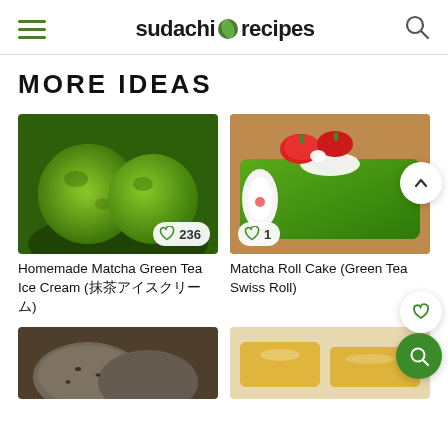sudachi recipes
MORE IDEAS
[Figure (photo): Matcha green tea ice cream scoops dusted with matcha powder in a dark bowl]
Homemade Matcha Green Tea Ice Cream (抹茶アイスクリーム)
[Figure (photo): Matcha roll cake (green tea swiss roll) with strawberries and cream on wooden board]
Matcha Roll Cake (Green Tea Swiss Roll)
[Figure (photo): Bread rolls, partially visible at bottom left]
[Figure (photo): Japanese bread or pastry with golden glaze, partially visible at bottom right]